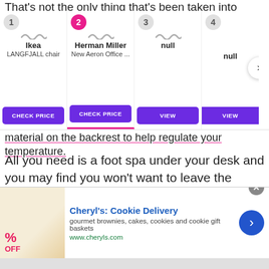That's not the only thing that's been taken into
[Figure (screenshot): Product comparison carousel with 4 items: 1) Ikea LANGFJALL chair with CHECK PRICE button, 2) Herman Miller New Aeron Office... with CHECK PRICE button (highlighted with pink underline), 3) null with VIEW button, 4) null with VIEW button (partially visible). Navigation arrow on right.]
material on the backrest to help regulate your temperature.
All you need is a foot spa under your desk and you may find you won't want to leave the office!
[Figure (screenshot): Advertisement banner for Cheryl's Cookie Delivery showing cookie image, up to % OFF text, headline 'Cheryl's: Cookie Delivery', description 'gourmet brownies, cakes, cookies and cookie gift baskets', URL www.cheryls.com, and a blue navigation arrow. Close button (x) at top right.]